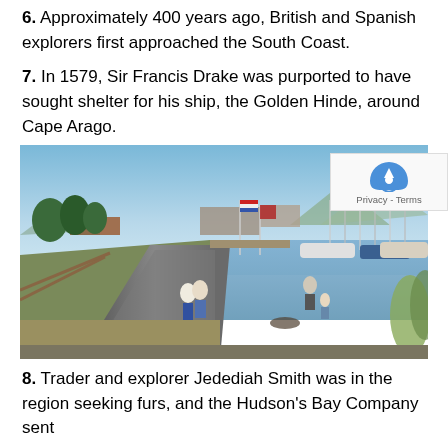6. Approximately 400 years ago, British and Spanish explorers first approached the South Coast.
7. In 1579, Sir Francis Drake was purported to have sought shelter for his ship, the Golden Hinde, around Cape Arago.
[Figure (photo): A paved waterfront path along a marina with boats docked on the right. People are walking on the path. Flags are visible on flagpoles. Mountains and buildings are in the background under a partly cloudy blue sky.]
8. Trader and explorer Jedediah Smith was in the region seeking furs, and the Hudson's Bay Company sent